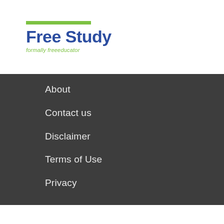Free Study
formally freeeducator
About
Contact us
Disclaimer
Terms of Use
Privacy